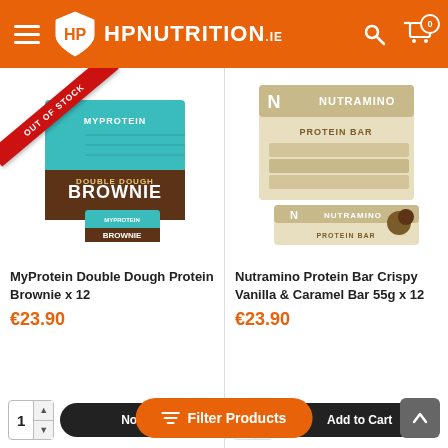HP Nutrition .ie
[Figure (screenshot): MyProtein Double Dough Brownie box x12, with 'OUT OF STOCK' red diagonal ribbon banner in top-left corner]
MyProtein Double Dough Protein Brownie x 12
€23.90
[Figure (screenshot): Nutramino Protein Bar Crispy Vanilla & Caramel Bar 55g x 12 box]
Nutramino Protein Bar Crispy Vanilla & Caramel Bar 55g x 12
€23.90
Filter Products